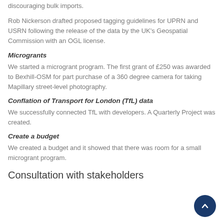discouraging bulk imports.
Rob Nickerson drafted proposed tagging guidelines for UPRN and USRN following the release of the data by the UK's Geospatial Commission with an OGL license.
Microgrants
We started a microgrant program. The first grant of £250 was awarded to Bexhill-OSM for part purchase of a 360 degree camera for taking Mapillary street-level photography.
Conflation of Transport for London (TfL) data
We successfully connected TfL with developers. A Quarterly Project was created.
Create a budget
We created a budget and it showed that there was room for a small microgrant program.
Consultation with stakeholders